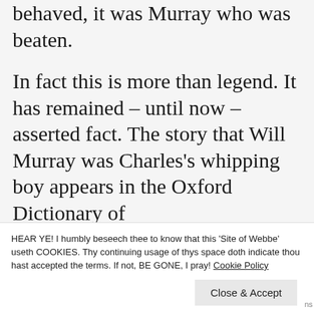behaved, it was Murray who was beaten.

In fact this is more than legend. It has remained – until now – asserted fact. The story that Will Murray was Charles's whipping boy appears in the Oxford Dictionary of
HEAR YE! I humbly beseech thee to know that this 'Site of Webbe' useth COOKIES. Thy continuing usage of thys space doth indicate thou hast accepted the terms. If not, BE GONE, I pray! Cookie Policy
Close & Accept